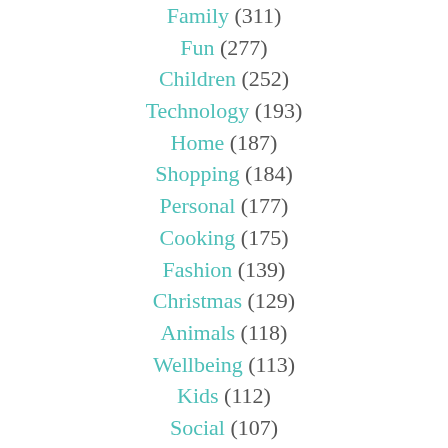Family (311)
Fun (277)
Children (252)
Technology (193)
Home (187)
Shopping (184)
Personal (177)
Cooking (175)
Fashion (139)
Christmas (129)
Animals (118)
Wellbeing (113)
Kids (112)
Social (107)
Work (104)
Education (92)
Sleep (90)